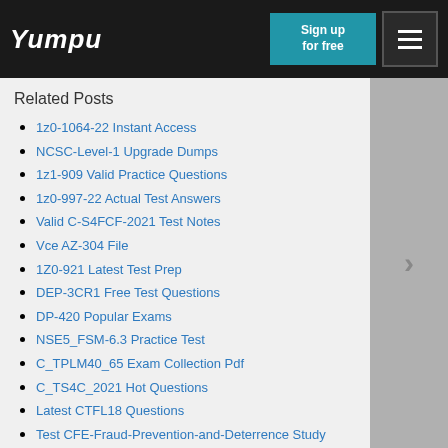Yumpu | Sign up for free | Menu
Related Posts
1z0-1064-22 Instant Access
NCSC-Level-1 Upgrade Dumps
1z1-909 Valid Practice Questions
1z0-997-22 Actual Test Answers
Valid C-S4FCF-2021 Test Notes
Vce AZ-304 File
1Z0-921 Latest Test Prep
DEP-3CR1 Free Test Questions
DP-420 Popular Exams
NSE5_FSM-6.3 Practice Test
C_TPLM40_65 Exam Collection Pdf
C_TS4C_2021 Hot Questions
Latest CTFL18 Questions
Test CFE-Fraud-Prevention-and-Deterrence Study Guide
200-901 Test Prep
Latest Braindumps 250-574 Ppt
Practice 71301X Tests
Certification XK0-004 Exam Infor